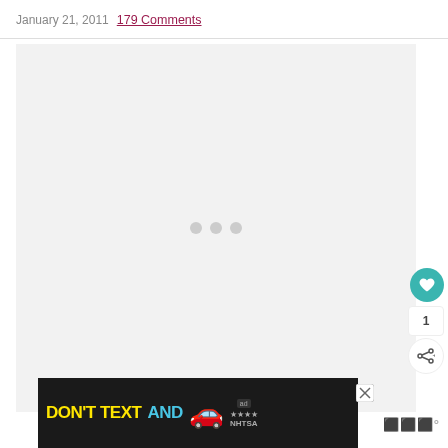January 21, 2011  179 Comments
[Figure (other): Loading placeholder with three grey dots on a light grey background]
[Figure (other): NHTSA 'Don't Text and Drive' advertisement banner with yellow text 'DON'T TEXT' and cyan text 'AND' alongside a red car illustration]